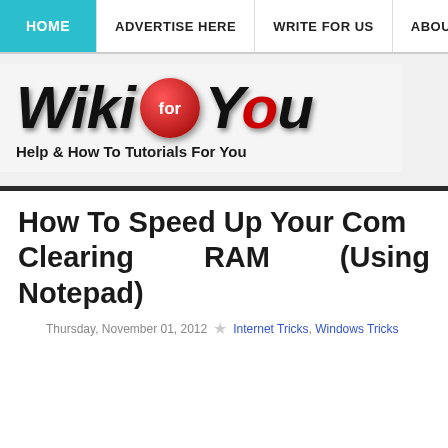HOME | ADVERTISE HERE | WRITE FOR US | ABOUT US
[Figure (logo): Wiki For You logo with red circular badge containing 'for' text, and tagline 'Help & How To Tutorials For You']
How To Speed Up Your Computer By Clearing RAM (Using Notepad)
Thursday, November 01, 2012 ★ Internet Tricks, Windows Tricks